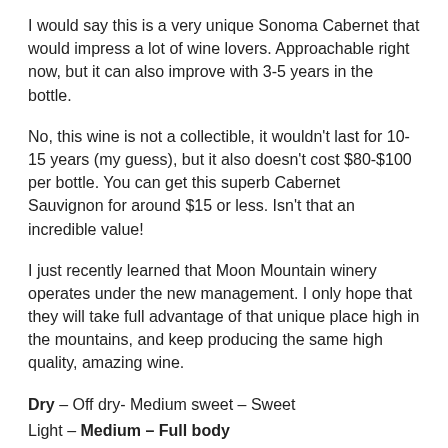I would say this is a very unique Sonoma Cabernet that would impress a lot of wine lovers. Approachable right now, but it can also improve with 3-5 years in the bottle.
No, this wine is not a collectible, it wouldn't last for 10-15 years (my guess), but it also doesn't cost $80-$100 per bottle. You can get this superb Cabernet Sauvignon for around $15 or less. Isn't that an incredible value!
I just recently learned that Moon Mountain winery operates under the new management. I only hope that they will take full advantage of that unique place high in the mountains, and keep producing the same high quality, amazing wine.
Dry – Off dry- Medium sweet – Sweet
Light – Medium – Full body
No oak – Aged in oak
Retail price: around $15.00